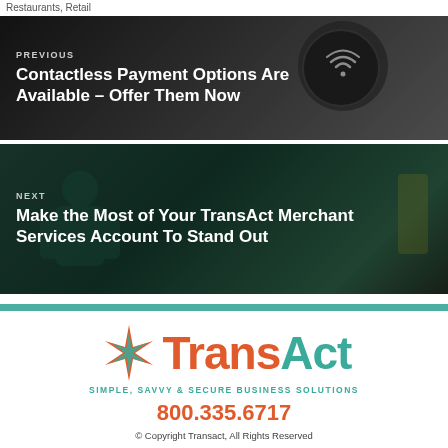Restaurants, Retail
[Figure (photo): Previous article navigation block with dark overlay showing contactless payment device]
PREVIOUS
Contactless Payment Options Are Available – Offer Them Now
[Figure (photo): Next article navigation block with dark overlay showing a person in teal jacket working with tools]
NEXT
Make the Most of Your TransAct Merchant Services Account To Stand Out
[Figure (logo): TransAct logo with starburst icon, Trans in orange, Act in teal, tagline SIMPLE, SAVVY & SECURE BUSINESS SOLUTIONS]
800.335.6717
© Copyright Transact, All Rights Reserved